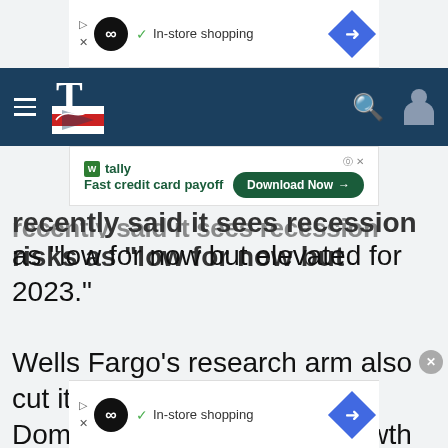[Figure (screenshot): Top advertisement banner with infinity loop icon, In-store shopping text, and blue diamond arrow]
[Figure (screenshot): Website navigation bar with dark blue background, hamburger menu, logo T with flag, search and user icons]
[Figure (screenshot): Tally fast credit card payoff advertisement with Download Now button]
recently said it sees recession risks as “low for now but elevated for 2023.”
Wells Fargo’s research arm also cut its year-end 2022 Gross Domestic Product (GDP) growth target to
[Figure (screenshot): Bottom advertisement banner with infinity loop icon, In-store shopping text, and blue diamond arrow]